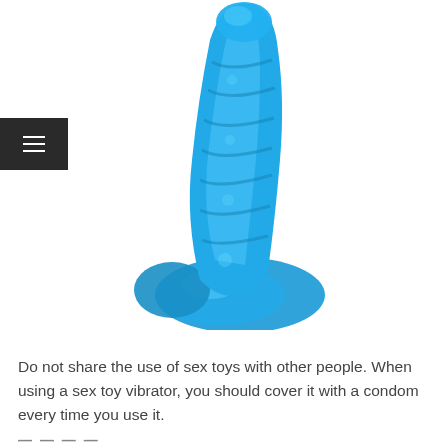[Figure (photo): Blue translucent jelly adult toy photographed on white background, showing textured shaft and base]
Do not share the use of sex toys with other people. When using a sex toy vibrator, you should cover it with a condom every time you use it.